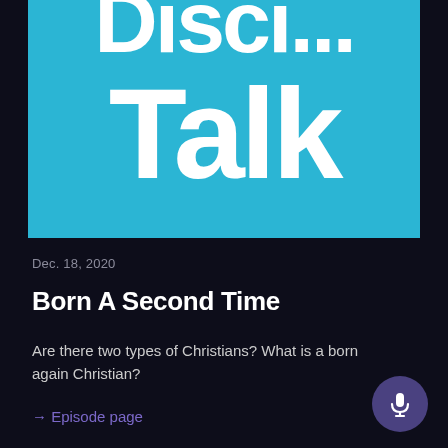[Figure (logo): Podcast cover art with cyan/teal blue background showing 'Talk' in large bold white text, with partially visible text above ('Disci...' or similar) that is cropped at the top.]
Dec. 18, 2020
Born A Second Time
Are there two types of Christians? What is a born again Christian?
→ Episode page